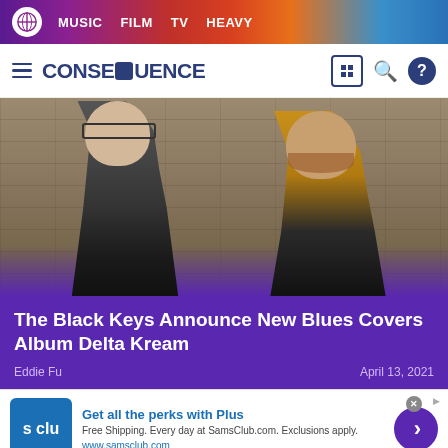MUSIC  FILM  TV  HEAVY
CONSEQUENCE
[Figure (photo): Two men standing in front of a stone wall. The man on the left wears glasses and a plaid shirt; the man on the right wears a yellow jacket and has a beard. This is The Black Keys.]
The Black Keys Announce New Blues Covers Album Delta Kream
Eddie Fu
April 13, 2021
Get all the perks with Plus
Free Shipping. Every day at SamsClub.com. Exclusions apply.
www.samsclub.com